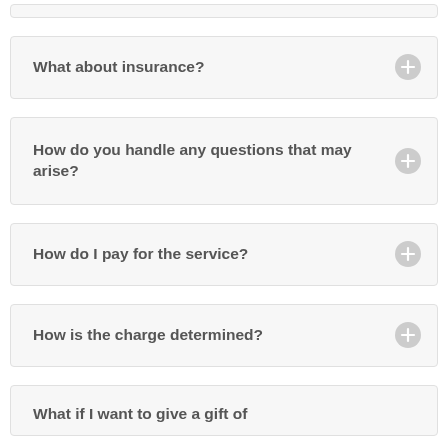What about insurance?
How do you handle any questions that may arise?
How do I pay for the service?
How is the charge determined?
What if I want to give a gift of